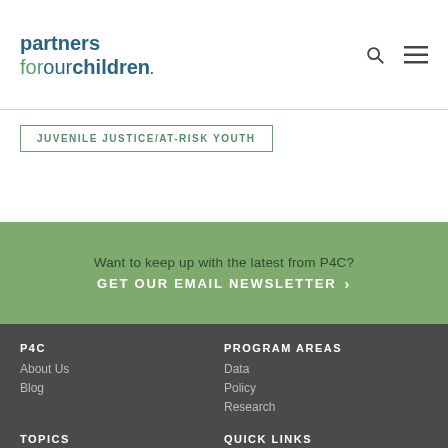partners forourchildren
JUVENILE JUSTICE/AT-RISK YOUTH
Want to keep up with the latest from P4C? GET OUR EMAIL NEWSLETTER >
P4C | About Us | Blog | PROGRAM AREAS | Data | Policy | Research | TOPICS | QUICK LINKS